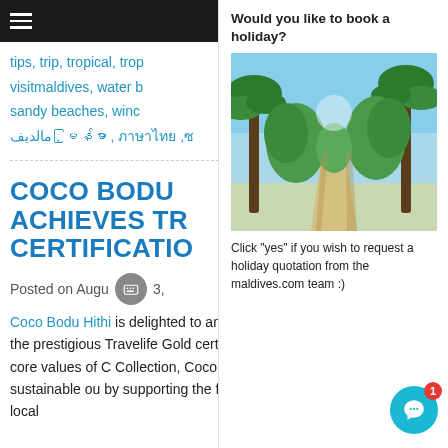tips, trip, tropical, trop, visitmaldives, water b, sandy beaches, winc, مالديف, မြန်မာ, ภาษาไทย, ซ
Would you like to book a holiday?
[Figure (photo): A tropical pathway lined with lush green palm trees and tropical vegetation, leading to a bright beach/ocean view in the background.]
Click "yes" if you wish to request a holiday quotation from the maldives.com team :)
COCO BODU ACHIEVES TR CERTIFICATIO
Posted on August 3,
Coco Bodu Hithi is delighted to announce the achievement of the prestigious Travelife Gold certification. In line with one of the core values of Collection, Coco Bodu Hithi shares a sustainable ou by supporting the fragile environment and the local